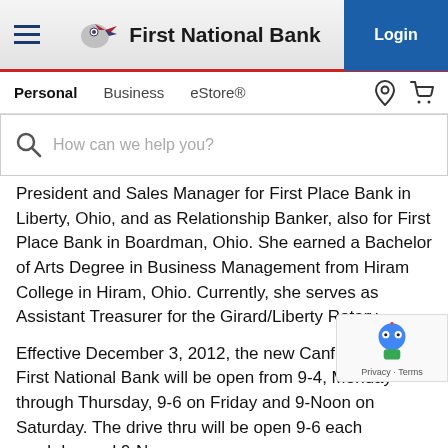First National Bank — Navigation header with Login button
Personal  Business  eStore®
How can we help you?
President and Sales Manager for First Place Bank in Liberty, Ohio, and as Relationship Banker, also for First Place Bank in Boardman, Ohio. She earned a Bachelor of Arts Degree in Business Management from Hiram College in Hiram, Ohio. Currently, she serves as Assistant Treasurer for the Girard/Liberty Rotary.
Effective December 3, 2012, the new Canfield Office of First National Bank will be open from 9-4, Monday through Thursday, 9-6 on Friday and 9-Noon on Saturday. The drive thru will be open 9-6 each weekday and 9-Noon on